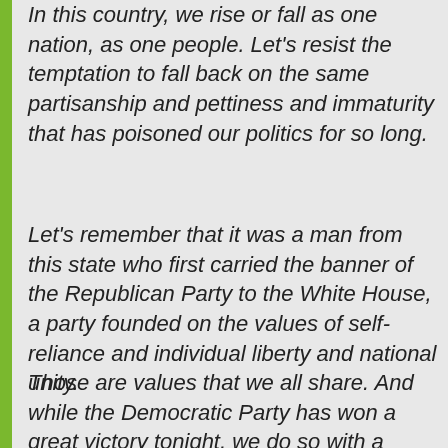In this country, we rise or fall as one nation, as one people. Let's resist the temptation to fall back on the same partisanship and pettiness and immaturity that has poisoned our politics for so long.
Let's remember that it was a man from this state who first carried the banner of the Republican Party to the White House, a party founded on the values of self-reliance and individual liberty and national unity.
Those are values that we all share. And while the Democratic Party has won a great victory tonight, we do so with a measure of humility and determination...